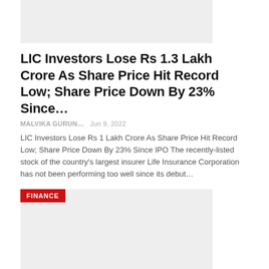[Figure (photo): Gray placeholder image at the top of the page]
LIC Investors Lose Rs 1.3 Lakh Crore As Share Price Hit Record Low; Share Price Down By 23% Since…
MALVIKA GURUN…  Jun 9, 2022
LIC Investors Lose Rs 1 Lakh Crore As Share Price Hit Record Low; Share Price Down By 23% Since IPO The recently-listed stock of the country's largest insurer Life Insurance Corporation has not been performing too well since its debut…
[Figure (photo): Gray placeholder image with FINANCE badge overlay]
LIC Investors Lost Rs 50,000 Crore As Share Prices Reduce 8% On Day 1
MALVIKA GURUN…  Jun 9, 2022